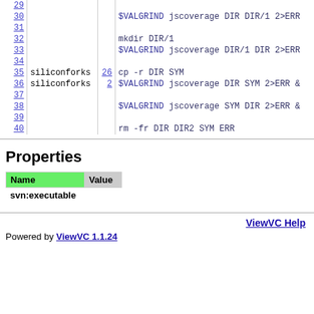| Line | Author | Rev | Code |
| --- | --- | --- | --- |
| 29 |  |  |  |
| 30 |  |  | $VALGRIND jscoverage DIR DIR/1 2>ERR |
| 31 |  |  |  |
| 32 |  |  | mkdir DIR/1 |
| 33 |  |  | $VALGRIND jscoverage DIR/1 DIR 2>ERR |
| 34 |  |  |  |
| 35 | siliconforks | 26 | cp -r DIR SYM |
| 36 | siliconforks | 2 | $VALGRIND jscoverage DIR SYM 2>ERR & |
| 37 |  |  |  |
| 38 |  |  | $VALGRIND jscoverage SYM DIR 2>ERR & |
| 39 |  |  |  |
| 40 |  |  | rm -fr DIR DIR2 SYM ERR |
Properties
| Name | Value |
| --- | --- |
| svn:executable |  |
ViewVC Help
Powered by ViewVC 1.1.24